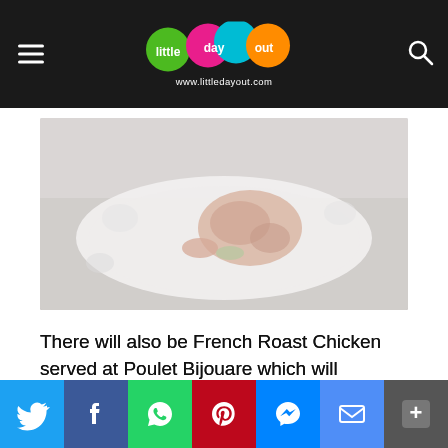little day out — www.littledayout.com
[Figure (photo): A French Roast Chicken served on a white oval plate, surrounded by garlic and herbs, on a dark rustic background. The image is slightly washed out/faded.]
There will also be French Roast Chicken served at Poulet Bijouare which will commence operations in October. Poulet Bijouare is a casual dining restaurant outlet, decked out
[Figure (infographic): Social sharing bar with buttons for Twitter, Facebook, WhatsApp, Pinterest, Messenger, Email, and More (+)]